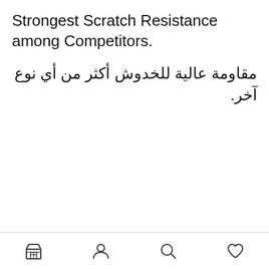Strongest Scratch Resistance among Competitors.
مقاومة عالية للخدوش أكثر من أي نوع آخر.
Navigation bar with store, account, search, and wishlist icons